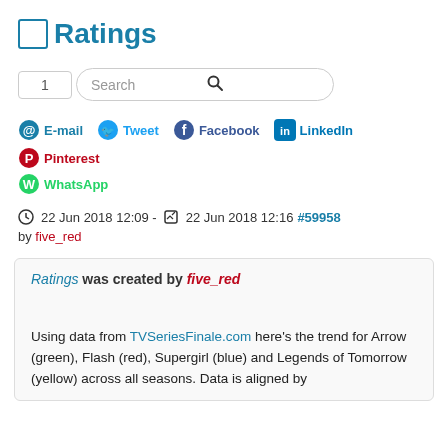Ratings
[Figure (screenshot): Search bar with number field showing '1' and a search input with magnifying glass icon]
[Figure (infographic): Social sharing buttons: E-mail, Tweet, Facebook, LinkedIn, Pinterest, WhatsApp]
22 Jun 2018 12:09 - 22 Jun 2018 12:16 #59958 by five_red
Ratings was created by five_red
Using data from TVSeriesFinale.com here's the trend for Arrow (green), Flash (red), Supergirl (blue) and Legends of Tomorrow (yellow) across all seasons. Data is aligned by